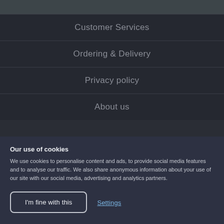Customer Services
Ordering & Delivery
Privacy policy
About us
Our use of cookies
We use cookies to personalise content and ads, to provide social media features and to analyse our traffic. We also share anonymous information about your use of our site with our social media, advertising and analytics partners.
I'm fine with this
Settings